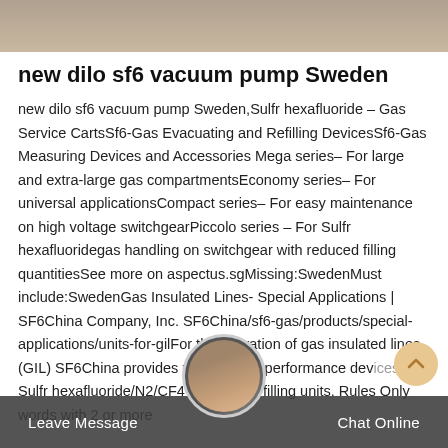[Figure (photo): Top portion of a photo showing a surface, partially visible at the top of the page]
new dilo sf6 vacuum pump Sweden
new dilo sf6 vacuum pump Sweden,Sulfr hexafluoride – Gas Service CartsSf6-Gas Evacuating and Refilling DevicesSf6-Gas Measuring Devices and Accessories Mega series– For large and extra-large gas compartmentsEconomy series– For universal applicationsCompact series– For easy maintenance on high voltage switchgearPiccolo series – For Sulfr hexafluoridegas handling on switchgear with reduced filling quantitiesSee more on aspectus.sgMissing:SwedenMust include:SwedenGas Insulated Lines- Special Applications | SF6China Company, Inc. SF6China/sf6-gas/products/special-applications/units-for-gilFor the operation of gas insulated lines (GIL) SF6China provides various high performance devices. Sulfr hexafluoride/N2/CF4 mixing and filling units. Rules Only words with 2 or more
Leave Message   Chat Online